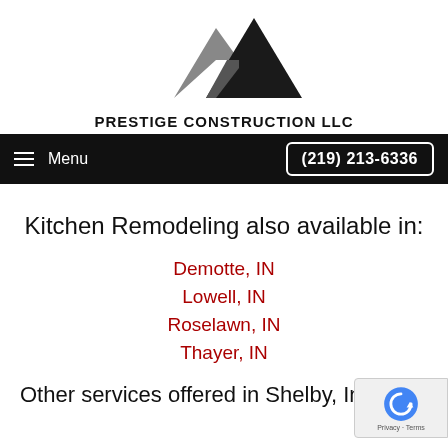[Figure (logo): Prestige Construction LLC logo with two overlapping triangular roof shapes in grey and black]
PRESTIGE CONSTRUCTION LLC
Menu  (219) 213-6336
Kitchen Remodeling also available in:
Demotte, IN
Lowell, IN
Roselawn, IN
Thayer, IN
Other services offered in Shelby, Indiana